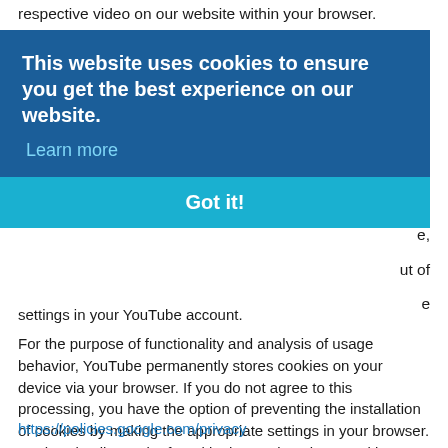respective video on our website within your browser. YouTube
[Figure (screenshot): Cookie consent popup overlay with dark blue background. Contains bold white text: 'This website uses cookies to ensure you get the best experience on our website.' followed by a 'Learn more' link. Below is a teal/cyan button bar with bold white text 'Got it!']
settings in your YouTube account.
For the purpose of functionality and analysis of usage behavior, YouTube permanently stores cookies on your device via your browser. If you do not agree to this processing, you have the option of preventing the installation of cookies by making the appropriate settings in your browser. Further details can be found in the section about cookies above.
Further information about the collection and use of data as well as your rights and protection options in Google's privacy policy found at
https://policies.google.com/privacy